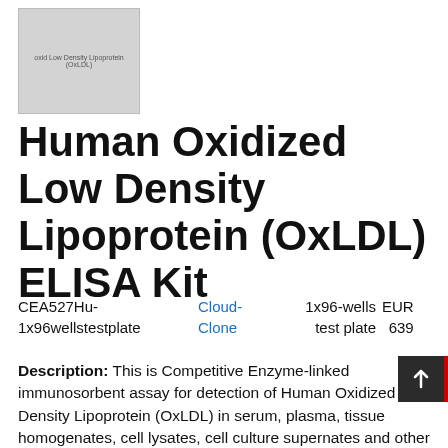[Figure (photo): Product image placeholder showing oxidized Low Density Lipoprotein (OxLDL) ELISA Kit packaging with gray background and faint text]
Human Oxidized Low Density Lipoprotein (OxLDL) ELISA Kit
CEA527Hu-1x96wellstestplate    Cloud-Clone    1x96-wells test plate    EUR 639
Description: This is Competitive Enzyme-linked immunosorbent assay for detection of Human Oxidized Low Density Lipoprotein (OxLDL) in serum, plasma, tissue homogenates, cell lysates, cell culture supernates and other biological fluids.